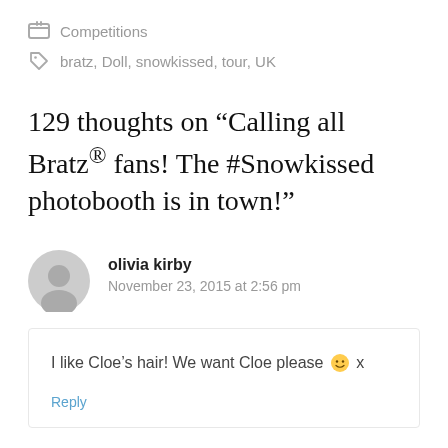Competitions
bratz, Doll, snowkissed, tour, UK
129 thoughts on “Calling all Bratz® fans! The #Snowkissed photobooth is in town!”
olivia kirby
November 23, 2015 at 2:56 pm
I like Cloe’s hair! We want Cloe please 🙂 x